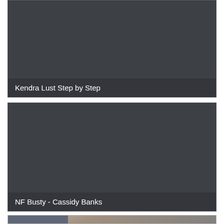[Figure (photo): Dark gray placeholder card for video thumbnail - Kendra Lust Step by Step]
Kendra Lust Step by Step
[Figure (photo): Dark gray placeholder card for video thumbnail - NF Busty - Cassidy Banks]
NF Busty - Cassidy Banks
[Figure (photo): Partial photo thumbnail at bottom showing a blonde person]